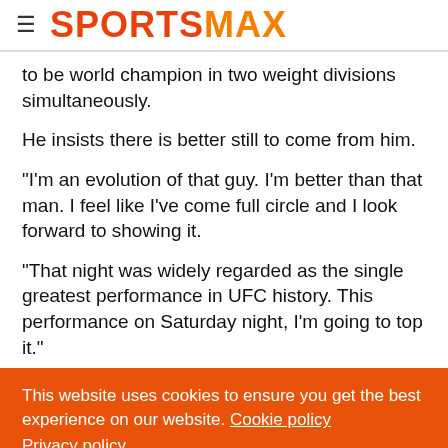SPORTSMAX
to be world champion in two weight divisions simultaneously.
He insists there is better still to come from him.
"I'm an evolution of that guy. I'm better than that man. I feel like I've come full circle and I look forward to showing it.
"That night was widely regarded as the single greatest performance in UFC history. This performance on Saturday night, I'm going to top it."
This website uses cookies to ensure you get the best experience on our website. Cookie policy
Privacy policy
Decline  Allow cookies